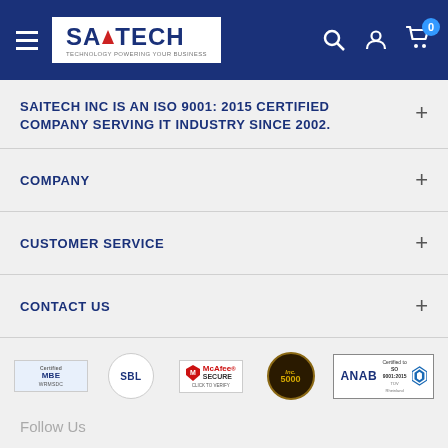[Figure (logo): Saitech logo with blue header navigation bar including hamburger menu, search, account, and cart icons]
SAITECH INC IS AN ISO 9001: 2015 CERTIFIED COMPANY SERVING IT INDUSTRY SINCE 2002.
COMPANY
CUSTOMER SERVICE
CONTACT US
[Figure (logo): Certification and trust badges: Certified MBE WRMSDC, SBL, McAfee Secure, Inc 5000, ANAB Certified ISO 9001:2015 TUV Rheinland]
Follow Us